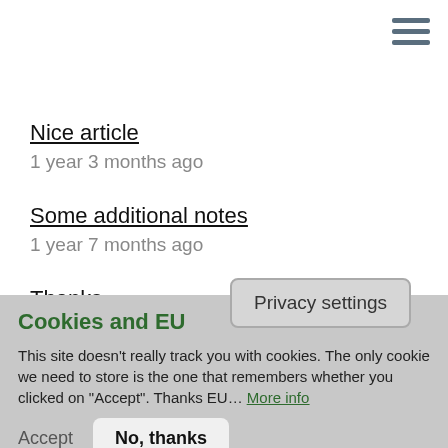[Figure (other): Hamburger menu icon (three horizontal lines) in top-right corner]
Nice article
1 year 3 months ago
Some additional notes
1 year 7 months ago
Thanks
1 year 9 months ago
Privacy settings
Cookies and EU
This site doesn't really track you with cookies. The only cookie we need to store is the one that remembers whether you clicked on "Accept". Thanks EU… More info
Accept   No, thanks